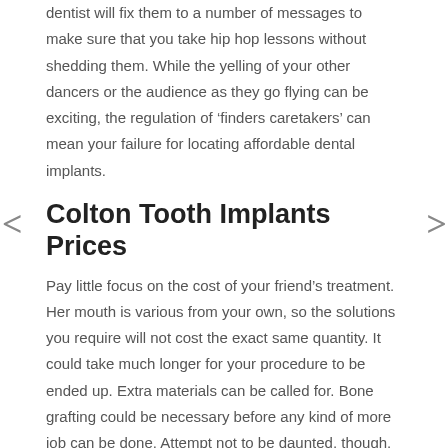dentist will fix them to a number of messages to make sure that you take hip hop lessons without shedding them. While the yelling of your other dancers or the audience as they go flying can be exciting, the regulation of ‘finders caretakers’ can mean your failure for locating affordable dental implants.
Colton Tooth Implants Prices
Pay little focus on the cost of your friend’s treatment. Her mouth is various from your own, so the solutions you require will not cost the exact same quantity. It could take much longer for your procedure to be ended up. Extra materials can be called for. Bone grafting could be necessary before any kind of more job can be done. Attempt not to be daunted, though.
When selecting affordable dental implants, simply discover just what kind of anesthetic solutions are used at the exact same time. This ought to put you at your simplicity. You might be asleep during. This is not all there on but if you can get more really